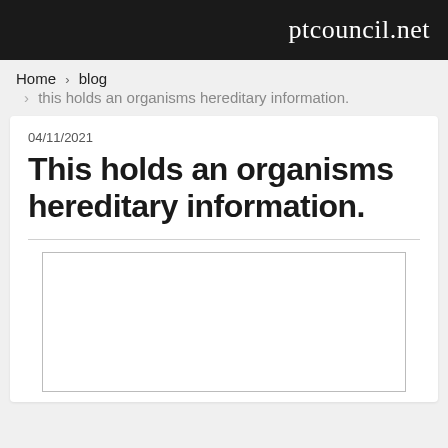ptcouncil.net
Home › blog › this holds an organisms hereditary information.
04/11/2021
This holds an organisms hereditary information.
[Figure (other): Empty white image box with gray border]